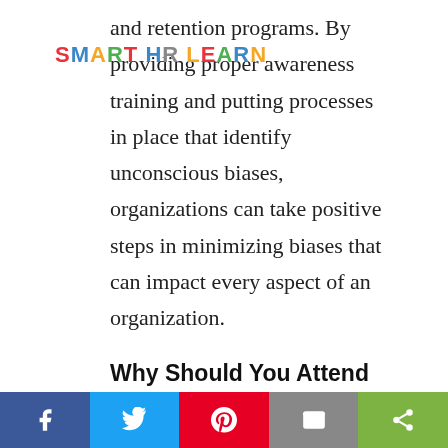[Figure (logo): SMART HR LEARN logo in multicolor letters]
and retention programs. By providing proper awareness training and putting processes in place that identify unconscious biases, organizations can take positive steps in minimizing biases that can impact every aspect of an organization.
Why Should You Attend
Tackling unconscious bias in the workplace can be difficult because it can be neither visible nor deliberate. Managers and employees might not realize they are making unfair assumptions or developing stereotypes based on the personal biases they bring to the workplace. Unconscious
Social share bar: Facebook, Twitter, Pinterest, Email, Share